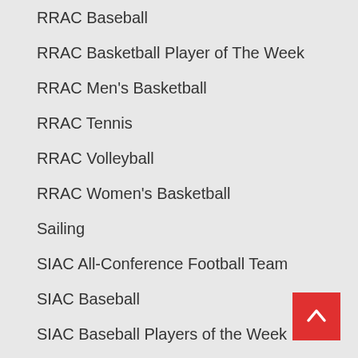RRAC Baseball
RRAC Basketball Player of The Week
RRAC Men's Basketball
RRAC Tennis
RRAC Volleyball
RRAC Women's Basketball
Sailing
SIAC All-Conference Football Team
SIAC Baseball
SIAC Baseball Players of the Week
SIAC Basketball
SIAC Basketball News
SIAC Basketball Players of the Week